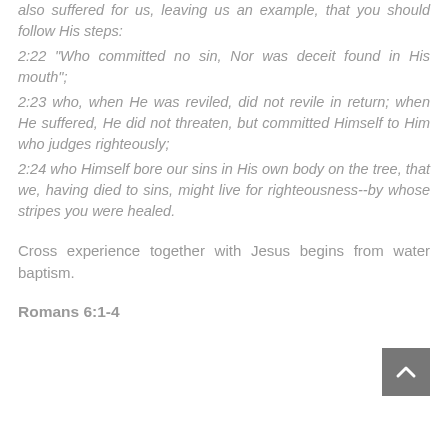also suffered for us, leaving us an example, that you should follow His steps:
2:22 "Who committed no sin, Nor was deceit found in His mouth";
2:23 who, when He was reviled, did not revile in return; when He suffered, He did not threaten, but committed Himself to Him who judges righteously;
2:24 who Himself bore our sins in His own body on the tree, that we, having died to sins, might live for righteousness--by whose stripes you were healed.
Cross experience together with Jesus begins from water baptism.
Romans 6:1-4